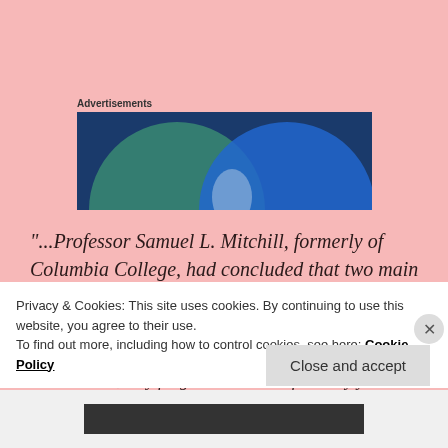Advertisements
[Figure (illustration): Advertisement banner with overlapping blue and green circles on a dark blue background, Venn diagram style graphic]
“...Professor Samuel L. Mitchill, formerly of Columbia College, had concluded that two main groups of people once dominated the Americas—the Tartars of northern Asia and the Australasians of the Polynesian islands. Furthermore, they fought one another for many years
Privacy & Cookies: This site uses cookies. By continuing to use this website, you agree to their use.
To find out more, including how to control cookies, see here: Cookie Policy
Close and accept